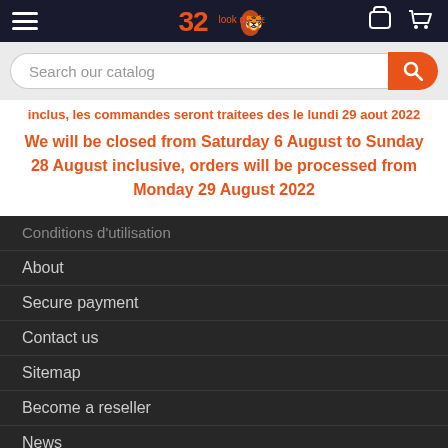Header navigation bar with logo and icons
Search our catalog
inclus, les commandes seront traitees des le lundi 29 aout 2022
We will be closed from Saturday 6 August to Sunday 28 August inclusive, orders will be processed from Monday 29 August 2022
Conditions d'utilisation
About
Secure payment
Contact us
Sitemap
Become a reseller
News
YOUR ACCOUNT
Personal info
Orders